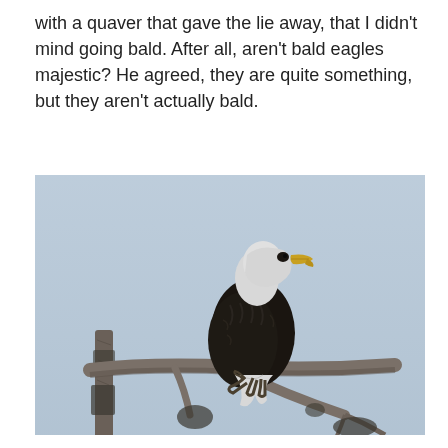with a quaver that gave the lie away, that I didn't mind going bald. After all, aren't bald eagles majestic? He agreed, they are quite something, but they aren't actually bald.
[Figure (photo): A bald eagle perched on a bare dead tree branch against a pale blue-grey sky. The eagle has a white head and tail, dark brown/black body, and yellow beak. It is facing right in profile.]